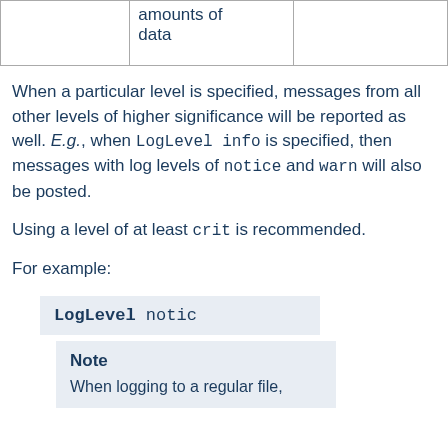|  |  |  |
| --- | --- | --- |
|  | amounts of data |  |
When a particular level is specified, messages from all other levels of higher significance will be reported as well. E.g., when LogLevel info is specified, then messages with log levels of notice and warn will also be posted.
Using a level of at least crit is recommended.
For example:
LogLevel notic
Note
When logging to a regular file,